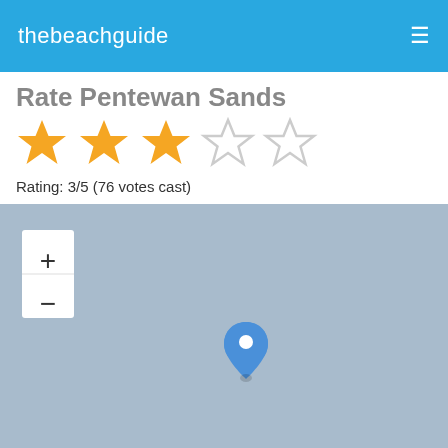thebeachguide
Rate Pentewan Sands
[Figure (other): Star rating widget showing 3 out of 5 stars filled (orange), 2 empty stars]
Rating: 3/5 (76 votes cast)
[Figure (map): Map view with zoom controls (+/-) and a blue location pin marker in the center-left area of the map]